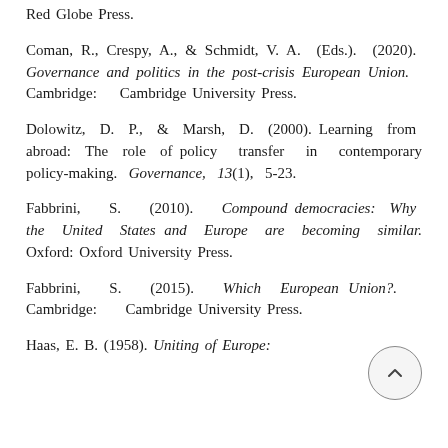Red Globe Press.
Coman, R., Crespy, A., & Schmidt, V. A. (Eds.). (2020). Governance and politics in the post-crisis European Union. Cambridge: Cambridge University Press.
Dolowitz, D. P., & Marsh, D. (2000). Learning from abroad: The role of policy transfer in contemporary policy-making. Governance, 13(1), 5-23.
Fabbrini, S. (2010). Compound democracies: Why the United States and Europe are becoming similar. Oxford: Oxford University Press.
Fabbrini, S. (2015). Which European Union?. Cambridge: Cambridge University Press.
Haas, E. B. (1958). Uniting of Europe: